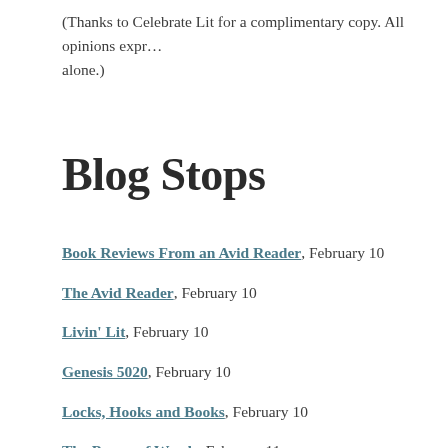(Thanks to Celebrate Lit for a complimentary copy. All opinions expressed are alone.)
Blog Stops
Book Reviews From an Avid Reader, February 10
The Avid Reader, February 10
Livin' Lit, February 10
Genesis 5020, February 10
Locks, Hooks and Books, February 10
The Power of Words, February 11
A Baker's Perspective, February 11